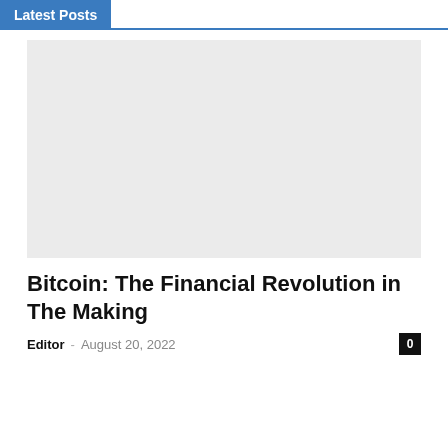Latest Posts
[Figure (photo): Light gray image placeholder for article thumbnail]
Bitcoin: The Financial Revolution in The Making
Editor - August 20, 2022